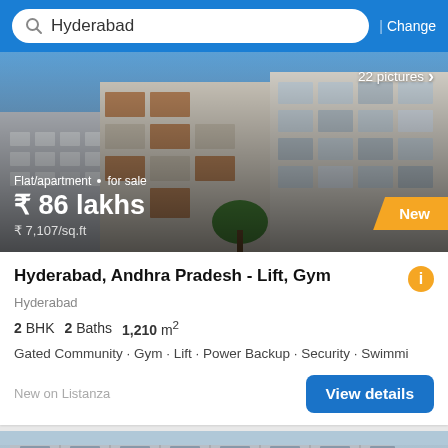Hyderabad | Change
[Figure (photo): Apartment building exterior photo with price overlay showing ₹ 86 lakhs for sale, flat/apartment, ₹ 7,107/sq.ft, 22 pictures, New badge]
Hyderabad, Andhra Pradesh - Lift, Gym
Hyderabad
2 BHK  2 Baths  1,210 m²
Gated Community · Gym · Lift · Power Backup · Security · Swimmi
New on Listanza
[Figure (photo): Under-construction apartment building photo (grayscale/blue tone) with Filter button and up arrow FAB, 8 pictures overlay]